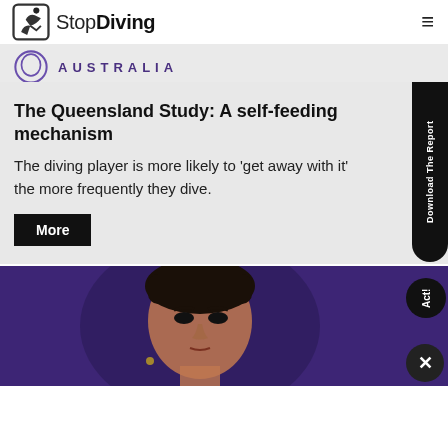StopDiving
[Figure (logo): StopDiving logo with soccer player icon and text 'StopDiving']
[Figure (illustration): Australia banner with circular purple logo and text AUSTRALIA]
The Queensland Study: A self-feeding mechanism
The diving player is more likely to 'get away with it' the more frequently they dive.
[Figure (photo): Close-up photo of a dark-skinned female athlete with her hair up, looking serious, against a purple/blue background]